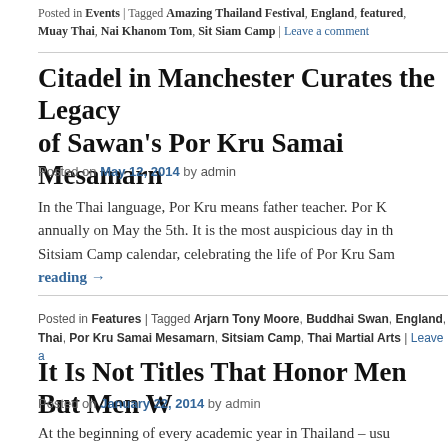Posted in Events | Tagged Amazing Thailand Festival, England, featured, Muay Thai, Nai Khanom Tom, Sit Siam Camp | Leave a comment
Citadel in Manchester Curates the Legacy of Sawan's Por Kru Samai Mesamarn
Posted on May 12, 2014 by admin
In the Thai language, Por Kru means father teacher. Por Kru... annually on May the 5th. It is the most auspicious day in the Sitsiam Camp calendar, celebrating the life of Por Kru Sam... reading →
Posted in Features | Tagged Arjarn Tony Moore, Buddhai Swan, England, Thai, Por Kru Samai Mesamarn, Sitsiam Camp, Thai Martial Arts | Leave a
It Is Not Titles That Honor Men But Men W
Posted on January 22, 2014 by admin
At the beginning of every academic year in Thailand – usu